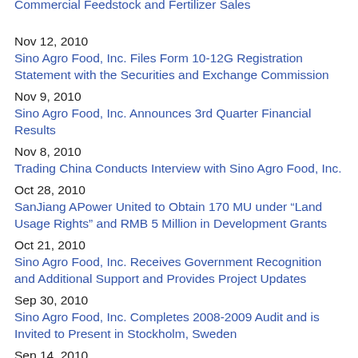Nov 12, 2010
Sino Agro Food, Inc. Files Form 10-12G Registration Statement with the Securities and Exchange Commission
Nov 9, 2010
Sino Agro Food, Inc. Announces 3rd Quarter Financial Results
Nov 8, 2010
Trading China Conducts Interview with Sino Agro Food, Inc.
Oct 28, 2010
SanJiang APower United to Obtain 170 MU under “Land Usage Rights” and RMB 5 Million in Development Grants
Oct 21, 2010
Sino Agro Food, Inc. Receives Government Recognition and Additional Support and Provides Project Updates
Sep 30, 2010
Sino Agro Food, Inc. Completes 2008-2009 Audit and is Invited to Present in Stockholm, Sweden
Sep 14, 2010
Sino Agro Food, Inc. Placed on Regulation SHO
Aug 27, 2010